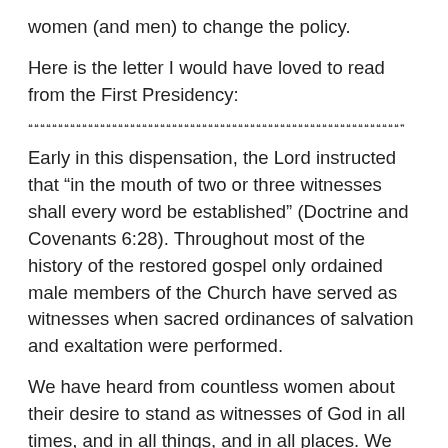women (and men) to change the policy.
Here is the letter I would have loved to read from the First Presidency:
""""""""""""""""""""""""""""""""""""""""""""""""""""""""""""""""""""""
Early in this dispensation, the Lord instructed that “in the mouth of two or three witnesses shall every word be established” (Doctrine and Covenants 6:28). Throughout most of the history of the restored gospel only ordained male members of the Church have served as witnesses when sacred ordinances of salvation and exaltation were performed.
We have heard from countless women about their desire to stand as witnesses of God in all times, and in all things, and in all places. We